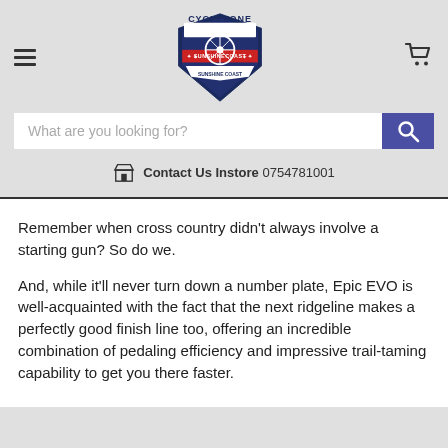[Figure (logo): Cyclezone Sunshine Coast shield logo with bicycle wheel]
What are you looking for?
Contact Us Instore 0754781001
Remember when cross country didn't always involve a starting gun? So do we.
And, while it'll never turn down a number plate, Epic EVO is well-acquainted with the fact that the next ridgeline makes a perfectly good finish line too, offering an incredible combination of pedaling efficiency and impressive trail-taming capability to get you there faster.